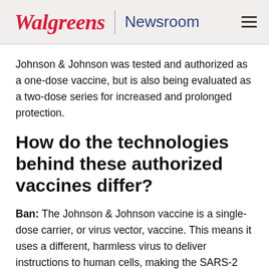Walgreens | Newsroom
Johnson & Johnson was tested and authorized as a one-dose vaccine, but is also being evaluated as a two-dose series for increased and prolonged protection.
How do the technologies behind these authorized vaccines differ?
Ban: The Johnson & Johnson vaccine is a single-dose carrier, or virus vector, vaccine. This means it uses a different, harmless virus to deliver instructions to human cells, making the SARS-2 spike protein and triggering an immune response to fend off the virus.
Pfizer and Moderna, on the other hand, are two-dose vaccines